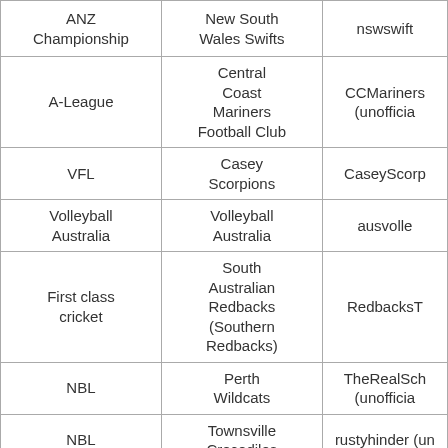| ANZ Championship | New South Wales Swifts | nswswift |
| A-League | Central Coast Mariners Football Club | CCMariners (unofficia |
| VFL | Casey Scorpions | CaseyScorp |
| Volleyball Australia | Volleyball Australia | ausvolle |
| First class cricket | South Australian Redbacks (Southern Redbacks) | RedbacksT |
| NBL | Perth Wildcats | TheRealSch (unofficia |
| NBL | Townsville Crocodiles | rustyhinder (un |